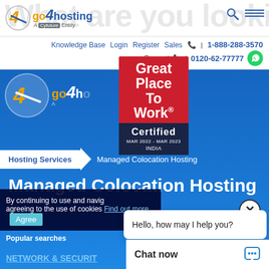[Figure (screenshot): go4hosting website header with logo, search bar background text 'What are you looking fo', navigation icons, and 'A Cyfuture Entity' tagline]
Knowledge Base  Login  Register  Sales  | 1-888-288-3570
Support  | 0120-62-77777
[Figure (logo): Great Place To Work Certified MAR 2022 - MAR 2023 INDIA badge]
Hosting Services  Managed Colocation Hosting
Managed Colocation Hosting
By continuing to use and navig agreeing to the use of cookies Find out more.  Agree
Popular searches
NETWORK & SECURIT
Hello, how may I help you?
Chat now